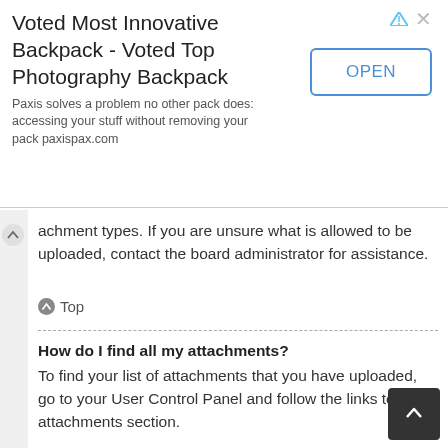[Figure (screenshot): Advertisement banner: 'Voted Most Innovative Backpack - Voted Top Photography Backpack' with OPEN button]
attachment types. If you are unsure what is allowed to be uploaded, contact the board administrator for assistance.
Top
How do I find all my attachments?
To find your list of attachments that you have uploaded, go to your User Control Panel and follow the links to the attachments section.
Top
phpBB Issues
Who wrote this bulletin board?
This software (in its unmodified form) is produced, released